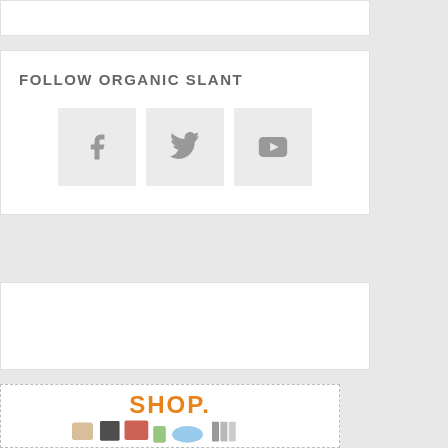FOLLOW ORGANIC SLANT
[Figure (infographic): Three social media icon buttons: Facebook (f), Twitter (bird), YouTube (play button) displayed in light grey square boxes]
[Figure (infographic): Shop advertisement banner with orange 'SHOP.' text and product images including a handbag, gaming console, blender/smoothie, KitchenAid mixer, shoes, books]